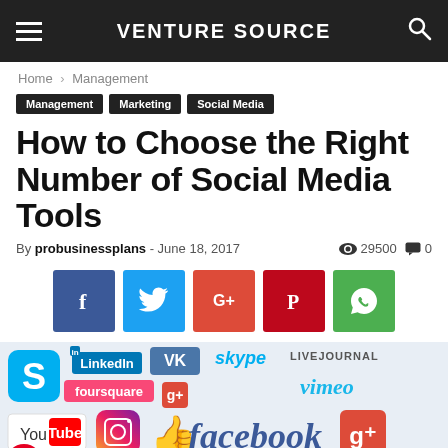VENTURE SOURCE
Home › Management
Management  Marketing  Social Media
How to Choose the Right Number of Social Media Tools
By probusinessplans - June 18, 2017   👁 29500  🗨 0
[Figure (infographic): Social share buttons: Facebook (f), Twitter (bird), Google+ (G+), Pinterest (P), WhatsApp (phone)]
[Figure (photo): Collage of social media logos including Skype, LinkedIn, VK, Foursquare, YouTube, Instagram, Facebook, Twitter, Vimeo, Google+, Flickr, Blogger, Behance, LiveJournal and others]